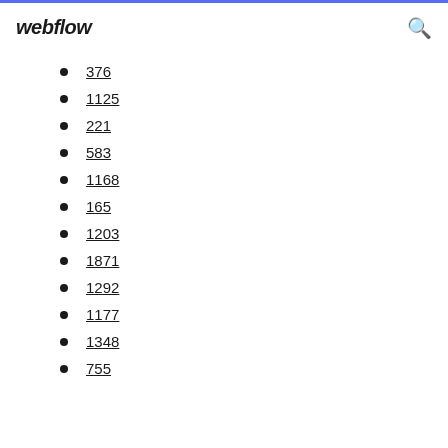webflow
376
1125
221
583
1168
165
1203
1871
1292
1177
1348
755